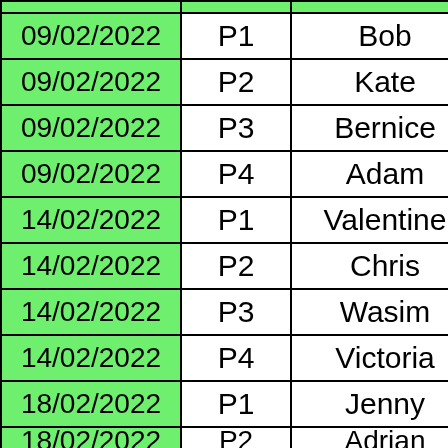| Date | Period | Name |
| --- | --- | --- |
| 09/02/2022 | P1 | Bob |
| 09/02/2022 | P2 | Kate |
| 09/02/2022 | P3 | Bernice |
| 09/02/2022 | P4 | Adam |
| 14/02/2022 | P1 | Valentine |
| 14/02/2022 | P2 | Chris |
| 14/02/2022 | P3 | Wasim |
| 14/02/2022 | P4 | Victoria |
| 18/02/2022 | P1 | Jenny |
| 18/02/2022 | P2 | Adrian |